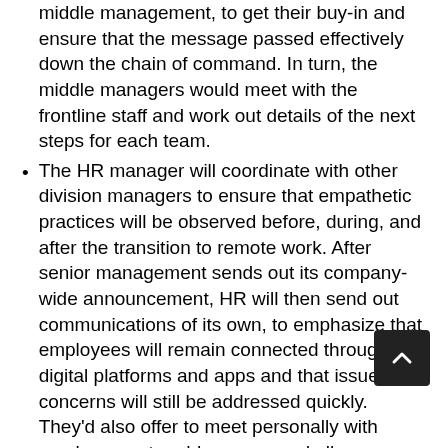in person meetings with their direct reports in middle management, to get their buy-in and ensure that the message passed effectively down the chain of command. In turn, the middle managers would meet with the frontline staff and work out details of the next steps for each team.
The HR manager will coordinate with other division managers to ensure that empathetic practices will be observed before, during, and after the transition to remote work. After senior management sends out its company-wide announcement, HR will then send out communications of its own, to emphasize that employees will remain connected through digital platforms and apps and that issues and concerns will still be addressed quickly. They'd also offer to meet personally with employees to address any and all concerns.
Finally, Pete will meet with his migration team to ensure that technical requirements and